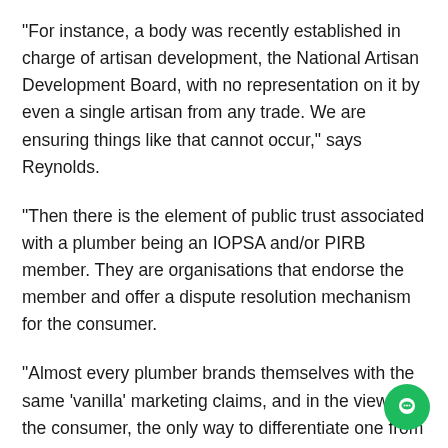“For instance, a body was recently established in charge of artisan development, the National Artisan Development Board, with no representation on it by even a single artisan from any trade. We are ensuring things like that cannot occur,” says Reynolds.
“Then there is the element of public trust associated with a plumber being an IOPSA and/or PIRB member. They are organisations that endorse the member and offer a dispute resolution mechanism for the consumer.
“Almost every plumber brands themselves with the same ‘vanilla’ marketing claims, and in the view of the consumer, the only way to differentiate one from another is based on the professional representation which offers reliability and accountability.”
While looking after the interests of plumbers, IOPSA and PIR...